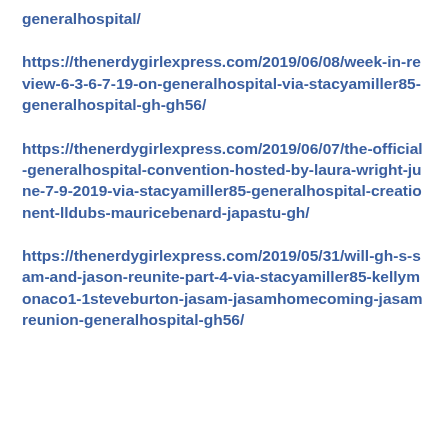generalhospital/
https://thenerdygirlexpress.com/2019/06/08/week-in-review-6-3-6-7-19-on-generalhospital-via-stacyamiller85-generalhospital-gh-gh56/
https://thenerdygirlexpress.com/2019/06/07/the-official-generalhospital-convention-hosted-by-laura-wright-june-7-9-2019-via-stacyamiller85-generalhospital-creationent-lldubs-mauricebenard-japastu-gh/
https://thenerdygirlexpress.com/2019/05/31/will-gh-s-sam-and-jason-reunite-part-4-via-stacyamiller85-kellymonaco1-1steveburton-jasam-jasamhomecoming-jasamreunion-generalhospital-gh56/